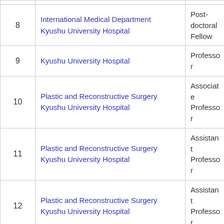| # | Department / Institution | Role |
| --- | --- | --- |
| 8 | International Medical Department
Kyushu University Hospital | Post-doctoral Fellow |
| 9 | Kyushu University Hospital | Professor |
| 10 | Plastic and Reconstructive Surgery
Kyushu University Hospital | Associate Professor |
| 11 | Plastic and Reconstructive Surgery
Kyushu University Hospital | Assistant Professor |
| 12 | Plastic and Reconstructive Surgery
Kyushu University Hospital | Assistant Professor |
| 13 | Plastic and Reconstructive Surgery
Kyushu University Hospital | Assistant Professor |
| 14 | Plastic and Reconstructive Surgery
Kyushu University Hospital | Assistant Professor |
| 15 | Division of Diagnostic Pathology... | Assistant... |